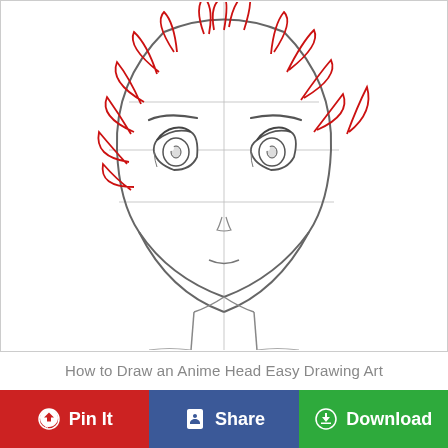[Figure (illustration): Step-by-step anime head drawing showing a front-facing anime male head with construction guidelines (vertical center line, horizontal eye line), large anime-style eyes with pupils, arched eyebrows, small nose indication, closed mouth, oval chin, neck, and red spiky hair lines drawn over the pencil sketch guide lines.]
How to Draw an Anime Head Easy Drawing Art
Pin It
Share
Download